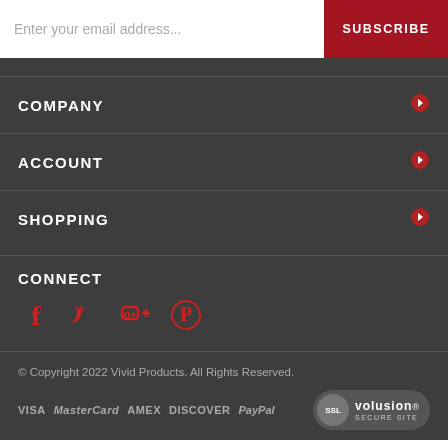Enter your email address...
SUBSCRIBE
COMPANY
ACCOUNT
SHOPPING
CONNECT
[Figure (infographic): Social media icons: Facebook, Twitter, Google+, Pinterest in red]
© Copyright 2022 Vivid Products. All Rights Reserved.
[Figure (infographic): Payment method logos: VISA, MasterCard, AMEX, DISCOVER, PayPal and SSL Volusion Secure Site badge]
)-->